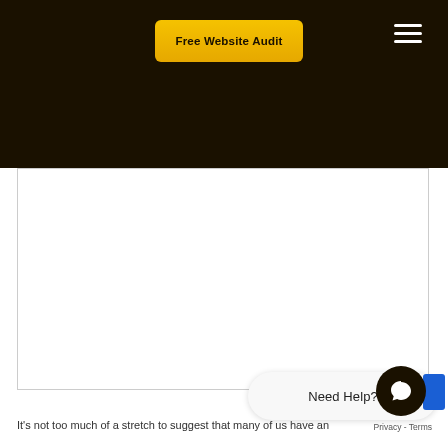Free Website Audit
[Figure (screenshot): White content area card with border — appears to be an embedded image or video placeholder]
Need Help?
It's not too much of a stretch to suggest that many of us have an